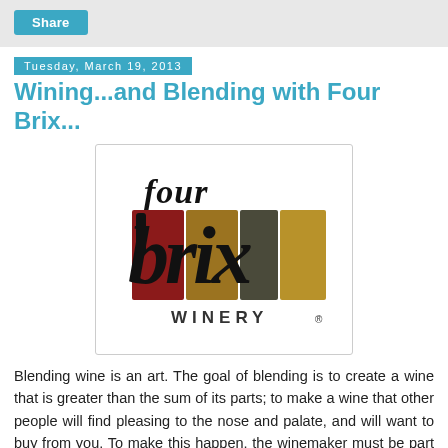Share
Tuesday, March 19, 2013
Wining...and Blending with Four Brix...
[Figure (logo): Four Brix Winery logo with stylized colorful block letters spelling 'four brix' and 'WINERY' text below]
Blending wine is an art. The goal of blending is to create a wine that is greater than the sum of its parts; to make a wine that other people will find pleasing to the nose and palate, and will want to buy from you. To make this happen, the winemaker must be part chemist, part artist. Part mad scientist helps, too.